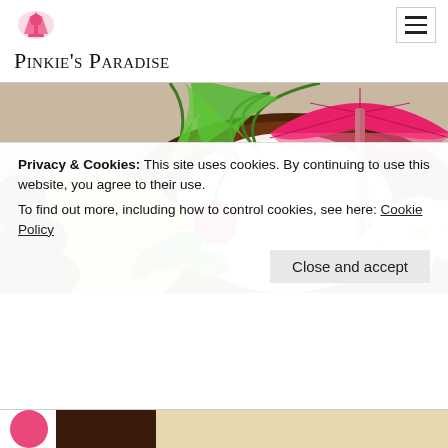Pinkie's Paradise
[Figure (illustration): Tropical coconut drink illustration with pink umbrella, cherry, white flower, pineapple and mint leaves]
Privacy & Cookies: This site uses cookies. By continuing to use this website, you agree to their use.
To find out more, including how to control cookies, see here: Cookie Policy
Close and accept